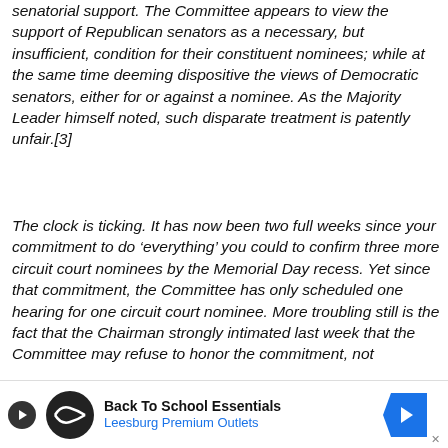senatorial support. The Committee appears to view the support of Republican senators as a necessary, but insufficient, condition for their constituent nominees; while at the same time deeming dispositive the views of Democratic senators, either for or against a nominee. As the Majority Leader himself noted, such disparate treatment is patently unfair.[3]
The clock is ticking. It has now been two full weeks since your commitment to do ‘everything’ you could to confirm three more circuit court nominees by the Memorial Day recess. Yet since that commitment, the Committee has only scheduled one hearing for one circuit court nominee. More troubling still is the fact that the Chairman strongly intimated last week that the Committee may refuse to honor the commitment, not
[Figure (other): Advertisement banner for Back To School Essentials at Leesburg Premium Outlets, with circular logo, play button, and blue arrow navigation element.]